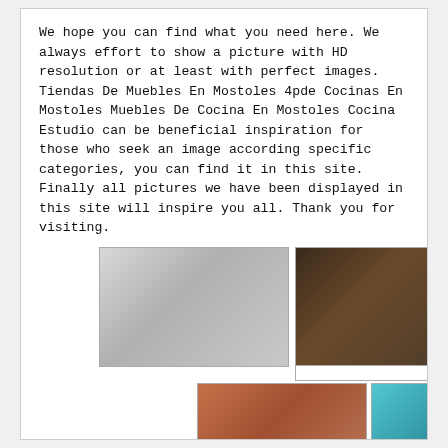We hope you can find what you need here. We always effort to show a picture with HD resolution or at least with perfect images. Tiendas De Muebles En Mostoles 4pde Cocinas En Mostoles Muebles De Cocina En Mostoles Cocina Estudio can be beneficial inspiration for those who seek an image according specific categories, you can find it in this site. Finally all pictures we have been displayed in this site will inspire you all. Thank you for visiting.
[Figure (photo): Gray sectional sofa in a modern room]
[Figure (photo): Dark bedroom interior with a bed and TV mounted on wall]
[Figure (photo): Empty placeholder rectangle]
[Figure (photo): Furniture store interior with shelves and display items in warm tones]
[Figure (photo): Colorful modern furniture showroom with teal ceiling and red accents]
[Figure (photo): Empty placeholder rectangle]
[Figure (photo): Kitchen or living room interior with shelving and decor items]